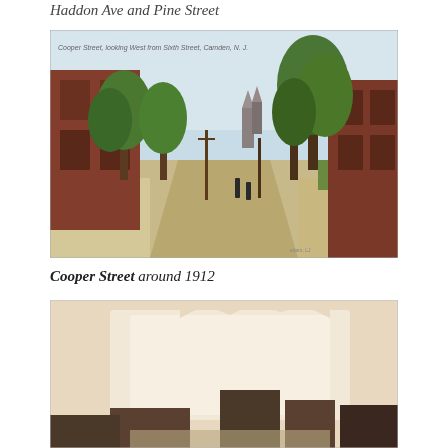Haddon Ave and Pine Street
[Figure (photo): Historic colorized postcard of Cooper Street looking west from Sixth Street, Camden, N.J., circa 1912. Tree-lined street with brick buildings on both sides, cobblestone road, and a church steeple visible in the distance.]
Cooper Street around 1912
[Figure (photo): Partially visible historic photograph, sepia/faded tone, showing a street scene with buildings, partially cut off at bottom of page.]